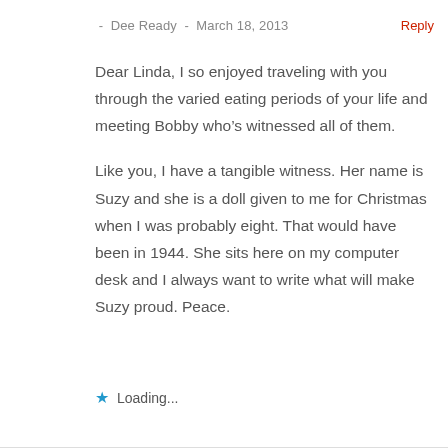- Dee Ready - March 18, 2013   Reply
Dear Linda, I so enjoyed traveling with you through the varied eating periods of your life and meeting Bobby who’s witnessed all of them.
Like you, I have a tangible witness. Her name is Suzy and she is a doll given to me for Christmas when I was probably eight. That would have been in 1944. She sits here on my computer desk and I always want to write what will make Suzy proud. Peace.
★ Loading...